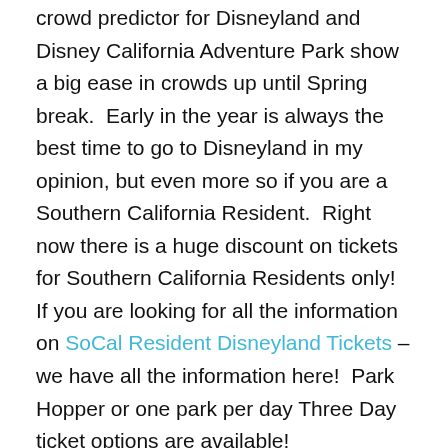crowd predictor for Disneyland and Disney California Adventure Park show a big ease in crowds up until Spring break.  Early in the year is always the best time to go to Disneyland in my opinion, but even more so if you are a Southern California Resident.  Right now there is a huge discount on tickets for Southern California Residents only! If you are looking for all the information on SoCal Resident Disneyland Tickets – we have all the information here!  Park Hopper or one park per day Three Day ticket options are available!
What is Genie+? Is it worth